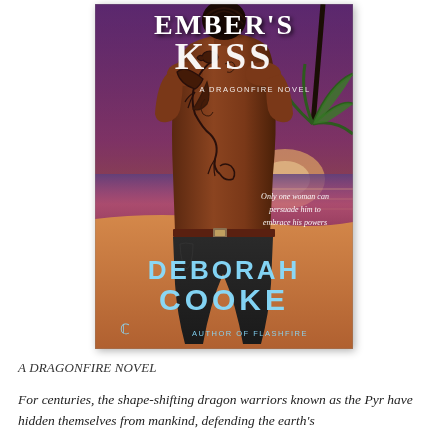[Figure (photo): Book cover of 'Ember's Kiss: A Dragonfire Novel' by Deborah Cooke. Shows a shirtless man with a dragon tattoo on his back, facing away, set against a tropical beach with a purple sunset sky. Text: 'Ember's Kiss', 'A Dragonfire Novel', 'Only one woman can persuade him to embrace his powers', 'Deborah Cooke', 'Author of Flashfire'.]
A DRAGONFIRE NOVEL
For centuries, the shape-shifting dragon warriors known as the Pyr have hidden themselves from mankind, defending the earth's